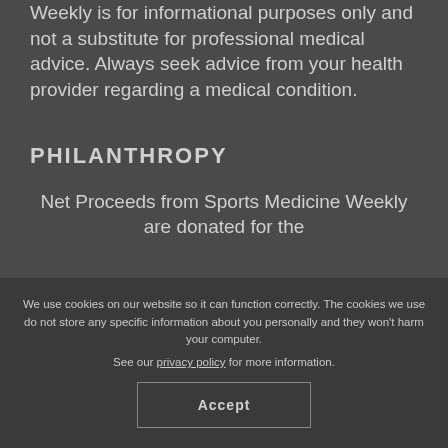Weekly is for informational purposes only and not a substitute for professional medical advice. Always seek advice from your health provider regarding a medical condition.
PHILANTHROPY
Net Proceeds from Sports Medicine Weekly are donated for the
We use cookies on our website so it can function correctly. The cookies we use do not store any specific information about you personally and they won't harm your computer.
See our privacy policy for more information.
Accept